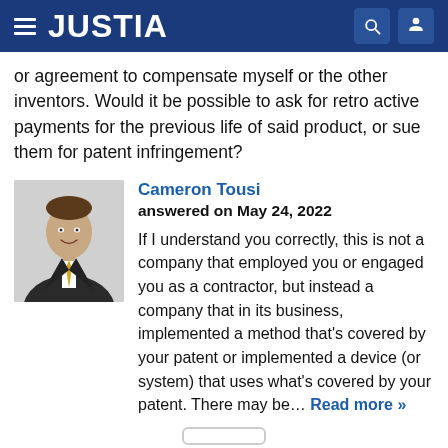JUSTIA
or agreement to compensate myself or the other inventors. Would it be possible to ask for retro active payments for the previous life of said product, or sue them for patent infringement?
[Figure (photo): Professional headshot of Cameron Tousi, a man in a dark suit with a yellow tie, smiling, against a light gray background.]
Cameron Tousi
answered on May 24, 2022
If I understand you correctly, this is not a company that employed you or engaged you as a contractor, but instead a company that in its business, implemented a method that's covered by your patent or implemented a device (or system) that uses what's covered by your patent. There may be... Read more »